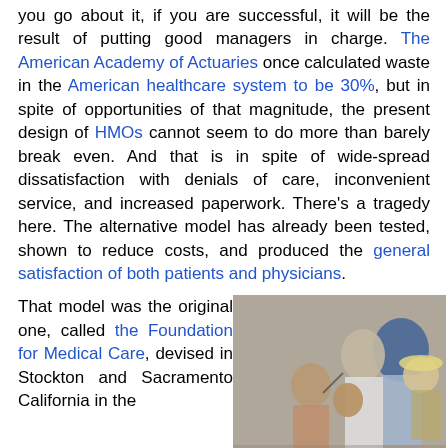you go about it, if you are successful, it will be the result of putting good managers in charge. The American Academy of Actuaries once calculated waste in the American healthcare system to be 30%, but in spite of opportunities of that magnitude, the present design of HMOs cannot seem to do more than barely break even. And that is in spite of wide-spread dissatisfaction with denials of care, inconvenient service, and increased paperwork. There's a tragedy here. The alternative model has already been tested, shown to reduce costs, and produced the general satisfaction of both patients and physicians.
That model was the original one, called the Foundation for Medical Care, devised in Stockton and Sacramento California in the
[Figure (photo): A medical scene showing a doctor or healthcare worker examining young children, with multiple people visible including children and adults in what appears to be a clinical or community health setting.]